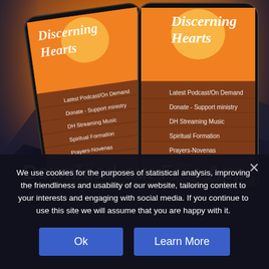[Figure (screenshot): Two smartphones displaying the Discerning Hearts app interface with warm sunset sky background and mountain silhouettes. App menu items visible include: Latest Podcast/On Demand, Donate - Support ministry, DH Streaming Music, Spiritual Formation, Prayers-Novenas, Scripture, Living Faith in World, Church Today/Yesterday, Audio Reflections. Large white bold text at bottom reads 'Download our Free App'.]
We use cookies for the purposes of statistical analysis, improving the friendliness and usability of our website, tailoring content to your interests and engaging with social media. If you continue to use this site we will assume that you are happy with it.